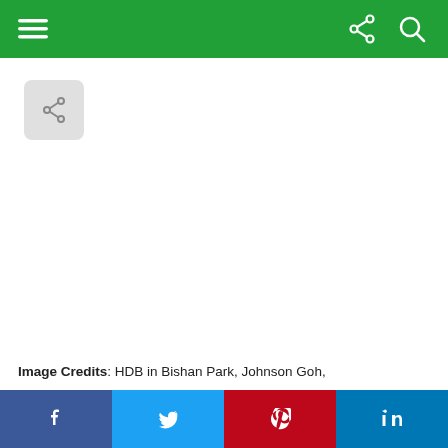[Figure (screenshot): Green navigation bar with hamburger menu on left and share/search icons on right]
[Figure (screenshot): Floating share button (grey rounded square with share icon)]
Image Credits: HDB in Bishan Park, Johnson Goh,
[Figure (screenshot): Social sharing bar at bottom with Facebook, Twitter, Pinterest, and LinkedIn buttons]